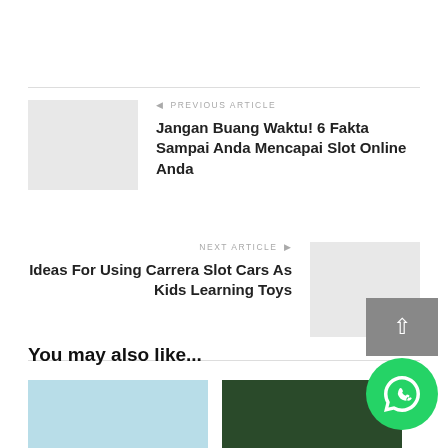[Figure (photo): Previous article thumbnail placeholder (light gray)]
← PREVIOUS ARTICLE
Jangan Buang Waktu! 6 Fakta Sampai Anda Mencapai Slot Online Anda
NEXT ARTICLE →
Ideas For Using Carrera Slot Cars As Kids Learning Toys
[Figure (photo): Next article thumbnail placeholder (light gray)]
You may also like...
[Figure (photo): Small thumbnail left (light blue-gray)]
[Figure (photo): Small thumbnail right (dark green/photo)]